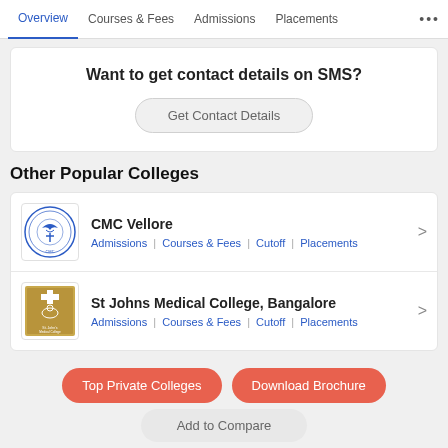Overview | Courses & Fees | Admissions | Placements ...
Want to get contact details on SMS?
Get Contact Details
Other Popular Colleges
CMC Vellore
Admissions | Courses & Fees | Cutoff | Placements
St Johns Medical College, Bangalore
Admissions | Courses & Fees | Cutoff | Placements
Top Private Colleges
Download Brochure
Add to Compare